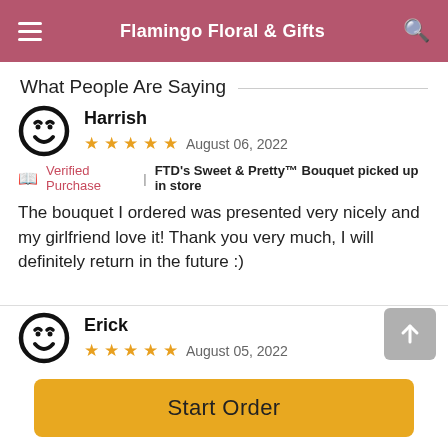Flamingo Floral & Gifts
What People Are Saying
Harrish
★★★★★  August 06, 2022
Verified Purchase | FTD's Sweet & Pretty™ Bouquet picked up in store
The bouquet I ordered was presented very nicely and my girlfriend love it! Thank you very much, I will definitely return in the future :)
Erick
★★★★★  August 05, 2022
Start Order